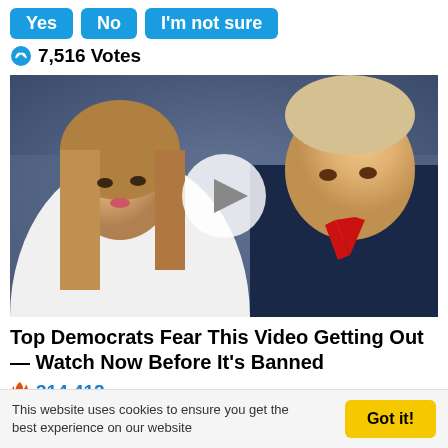Yes  No  I'm not sure
7,516 Votes
[Figure (photo): Photo of Melania and Donald Trump with a video play button overlay]
Top Democrats Fear This Video Getting Out — Watch Now Before It's Banned
314,412
[Figure (photo): Partial photo at bottom of page]
This website uses cookies to ensure you get the best experience on our website